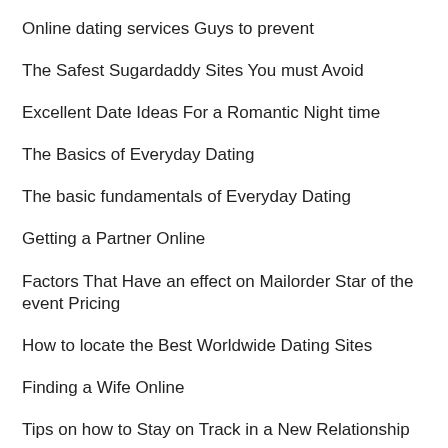Online dating services Guys to prevent
The Safest Sugardaddy Sites You must Avoid
Excellent Date Ideas For a Romantic Night time
The Basics of Everyday Dating
The basic fundamentals of Everyday Dating
Getting a Partner Online
Factors That Have an effect on Mailorder Star of the event Pricing
How to locate the Best Worldwide Dating Sites
Finding a Wife Online
Tips on how to Stay on Track in a New Relationship
…